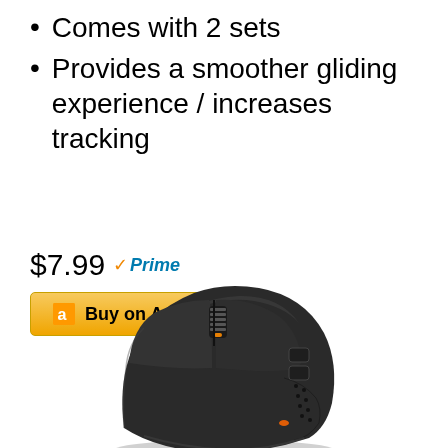Comes with 2 sets
Provides a smoother gliding experience / increases tracking
$7.99 Prime
Buy on Amazon
[Figure (photo): A black gaming mouse (SteelSeries) shown from a three-quarter front-left angle, featuring a textured grip, scroll wheel with orange LED accent, and side buttons.]